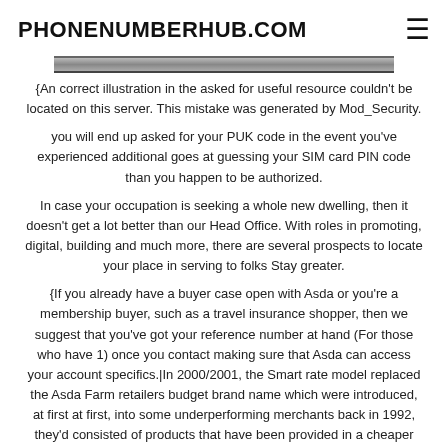PHONENUMBERHUB.COM
[Figure (illustration): Partial image cropped at top, showing a dark horizontal bar/stripe element]
{An correct illustration in the asked for useful resource couldn't be located on this server. This mistake was generated by Mod_Security.
you will end up asked for your PUK code in the event you've experienced additional goes at guessing your SIM card PIN code than you happen to be authorized.
In case your occupation is seeking a whole new dwelling, then it doesn't get a lot better than our Head Office. With roles in promoting, digital, building and much more, there are several prospects to locate your place in serving to folks Stay greater.
{If you already have a buyer case open with Asda or you're a membership buyer, such as a travel insurance shopper, then we suggest that you've got your reference number at hand (For those who have 1) once you contact making sure that Asda can access your account specifics.|In 2000/2001, the Smart rate model replaced the Asda Farm retailers budget brand name which were introduced, at first at first, into some underperforming merchants back in 1992, they'd consisted of products that have been provided in a cheaper price